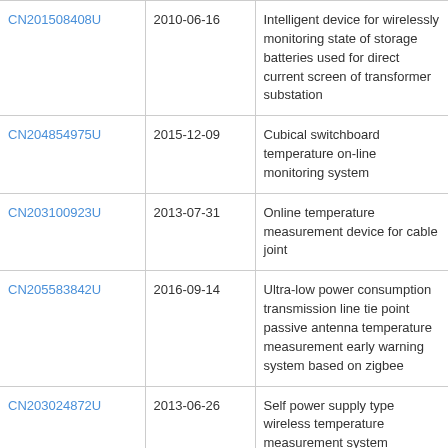| CN201508408U | 2010-06-16 | Intelligent device for wirelessly monitoring state of storage batteries used for direct current screen of transformer substation |
| CN204854975U | 2015-12-09 | Cubical switchboard temperature on‑line monitoring system |
| CN203100923U | 2013-07-31 | Online temperature measurement device for cable joint |
| CN205583842U | 2016-09-14 | Ultra‑low power consumption transmission line tie point passive antenna temperature measurement early warning system based on zigbee |
| CN203024872U | 2013-06-26 | Self power supply type wireless temperature measurement system |
| CN105371970A | 2016-03-02 | Substation wireless |